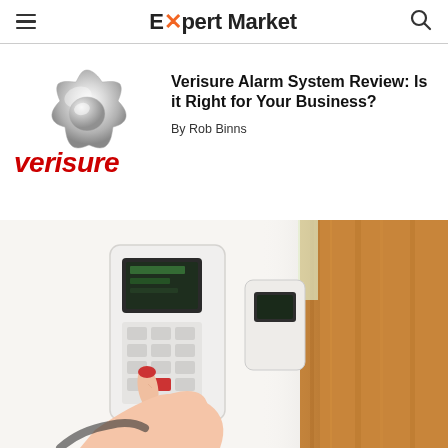Expert Market
[Figure (logo): Verisure logo: silver star-shaped motion sensor device above red 'verisure' wordmark text]
Verisure Alarm System Review: Is it Right for Your Business?
By Rob Binns
[Figure (photo): Close-up photo of a person's hand pressing buttons on a white Verisure alarm keypad mounted on a white wall, with a wooden door visible in the background]